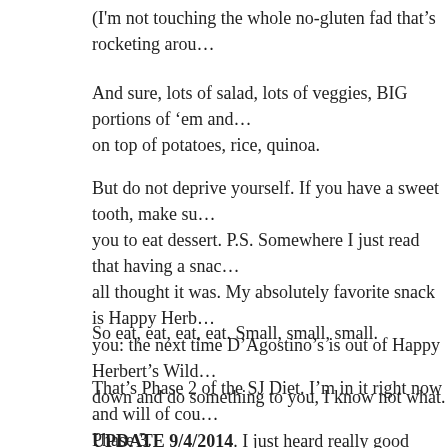(I'm not touching the whole no-gluten fad that's rocketing arou…
And sure, lots of salad, lots of veggies, BIG portions of ‘em and… on top of potatoes, rice, quinoa.
But do not deprive yourself. If you have a sweet tooth, make su… you to eat dessert. P.S. Somewhere I just read that having a snac… all thought it was. My absolutely favorite snack is Happy Herb… you: the next time D’Agostino’s is out of Happy Herbert’s Wild… down and do something to you, I know not what.
So eat, eat, eat, eat. Small, small, small.
That’s Phase 2 of the SJ Diet. I’m in it right now and will of cou… Phase 3.
UPDATE 9/4/2014. I just heard really good things about spinac… satisfies appetite beyond expectations and people who eat it less…